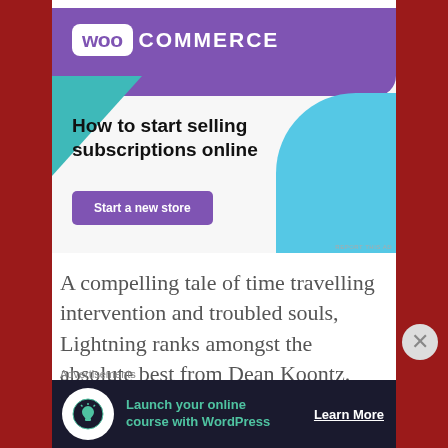[Figure (advertisement): WooCommerce advertisement banner with purple header, WooCommerce logo, teal triangle shape, blue curved shape, headline 'How to start selling subscriptions online', and 'Start a new store' button]
A compelling tale of time travelling intervention and troubled souls, Lightning ranks amongst the absolute best from Dean Koontz. Given the man's unbelievable
Advertisements
[Figure (advertisement): Dark banner advertisement: 'Launch your online course with WordPress' with tree/person icon and 'Learn More' button]